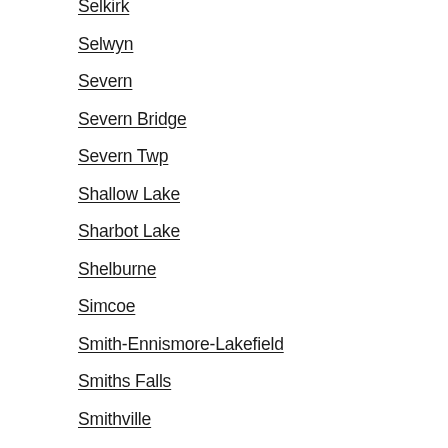Selkirk
Selwyn
Severn
Severn Bridge
Severn Twp
Shallow Lake
Sharbot Lake
Shelburne
Simcoe
Smith-Ennismore-Lakefield
Smiths Falls
Smithville
South Bruce Peninsula
South Frontenac
South Glengarry